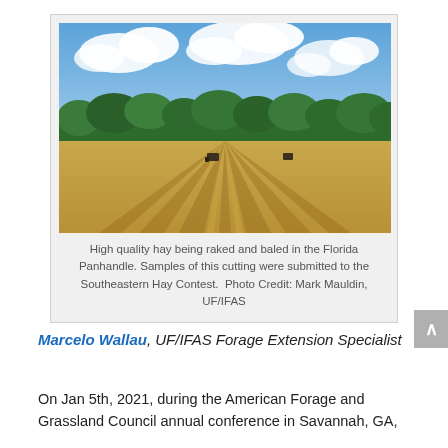[Figure (photo): Aerial/ground-level photo of a hay field being raked and baled in the Florida Panhandle. Golden hay rows stretch toward the horizon with green trees in the background under a partly cloudy blue sky. Farm equipment is visible in the field.]
High quality hay being raked and baled in the Florida Panhandle. Samples of this cutting were submitted to the Southeastern Hay Contest.  Photo Credit: Mark Mauldin, UF/IFAS
Marcelo Wallau, UF/IFAS Forage Extension Specialist
On Jan 5th, 2021, during the American Forage and Grassland Council annual conference in Savannah, GA,